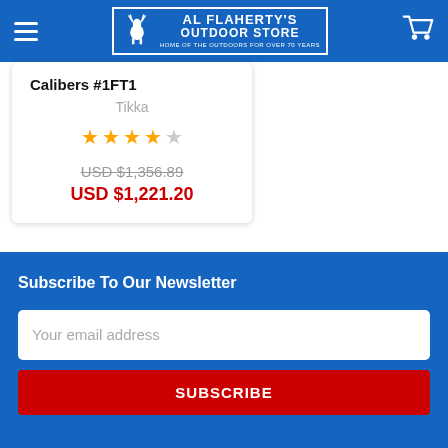AL FLAHERTY'S OUTDOOR STORE | HOME OF THE OUTDOORS FOR OVER 70 YEARS
Calibers #1FT1
Tikka
★★★★☆
USD $1,356.89
USD $1,221.20
Subscribe To Our Newsletter
Your email address
SUBSCRIBE